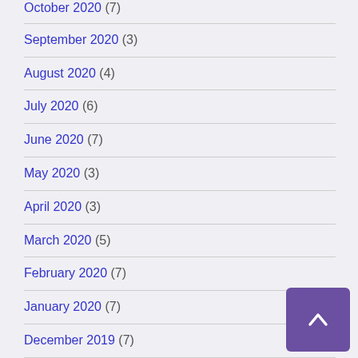October 2020 (7)
September 2020 (3)
August 2020 (4)
July 2020 (6)
June 2020 (7)
May 2020 (3)
April 2020 (3)
March 2020 (5)
February 2020 (7)
January 2020 (7)
December 2019 (7)
November 2019 (2)